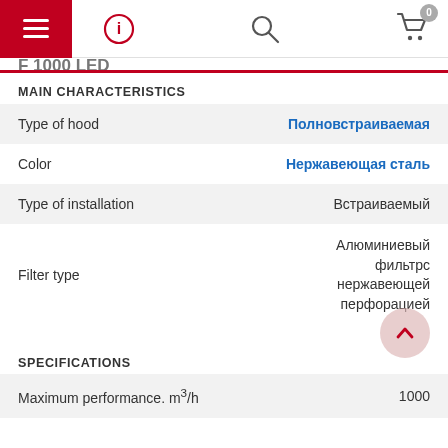Navigation bar with hamburger menu, info icon, search icon, and cart icon (0 items)
F 1000 LED
MAIN CHARACTERISTICS
| Property | Value |
| --- | --- |
| Type of hood | Полновстраиваемая |
| Color | Нержавеющая сталь |
| Type of installation | Встраиваемый |
| Filter type | Алюминиевый фильтрс нержавеющей перфорацией |
SPECIFICATIONS
| Property | Value |
| --- | --- |
| Maximum performance. m³/h | 1000 |